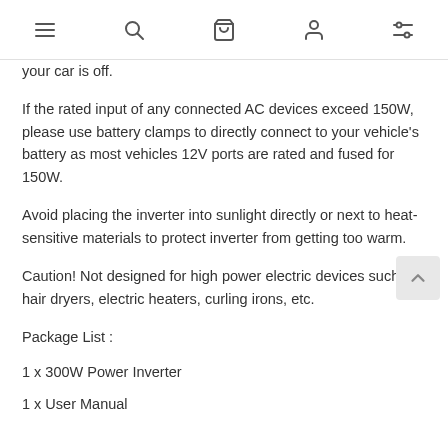[navigation icons: menu, search, cart, account, filter]
your car is off.
If the rated input of any connected AC devices exceed 150W, please use battery clamps to directly connect to your vehicle's battery as most vehicles 12V ports are rated and fused for 150W.
Avoid placing the inverter into sunlight directly or next to heat-sensitive materials to protect inverter from getting too warm.
Caution! Not designed for high power electric devices such as hair dryers, electric heaters, curling irons, etc.
Package List :
1 x 300W Power Inverter
1 x User Manual